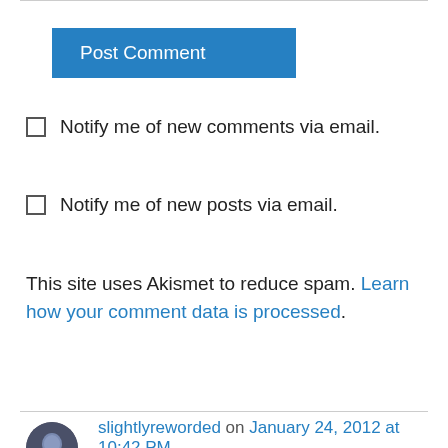Post Comment
Notify me of new comments via email.
Notify me of new posts via email.
This site uses Akismet to reduce spam. Learn how your comment data is processed.
slightlyreworded on January 24, 2012 at 10:42 PM
Great illustration. Really liked the music too. My father was a musician, and one of his favorite artists was Chet Atkins. Django's sound reminds me of Atkins, who was an amazing guitar picker.